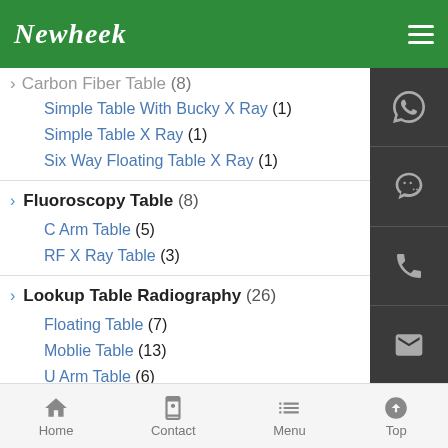Newheek
Carbon Fiber Table (8) - partial
Simple Table With Bucky X Ray (1)
Simple Table X Ray (1)
Six Way Floating Table X Ray (1)
Fluoroscopy Table (8)
C Arm Table (5)
RF X Ray Table (3)
Lookup Table Radiography (26)
Floating Table (7)
Moblie Table (13)
U Arm Table (6)
Plexiglass Table (4)
Simple Table (1)
Simple Table With Bucky (1)
Six Way Floating Table (2)
Home  Contact  Menu  Top